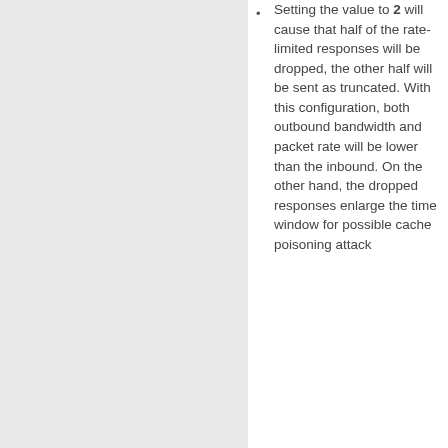Setting the value to 2 will cause that half of the rate-limited responses will be dropped, the other half will be sent as truncated. With this configuration, both outbound bandwidth and packet rate will be lower than the inbound. On the other hand, the dropped responses enlarge the time window for possible cache poisoning attack